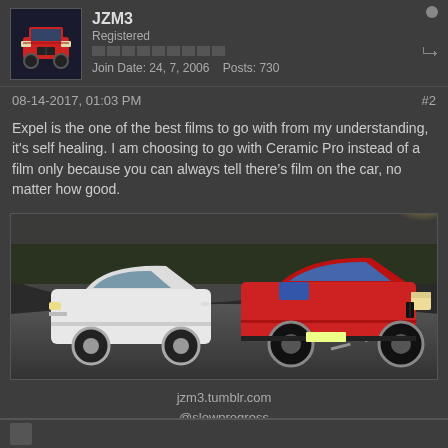JZM3
Registered
Join Date: 24, 7, 2006   Posts: 730
08-14-2017, 01:03 PM   #2
Expel is the one of the best films to go with from my understanding, it's self healing. I am choosing to go with Ceramic Pro instead of a film only because you can always tell there's film on the car, no matter how good.
[Figure (photo): Two cars driving on a road — a white classic Mercedes-Benz sedan and a red BMW E30 M3 side by side on a curved road]
jzm3.tumblr.com
@slowprogress